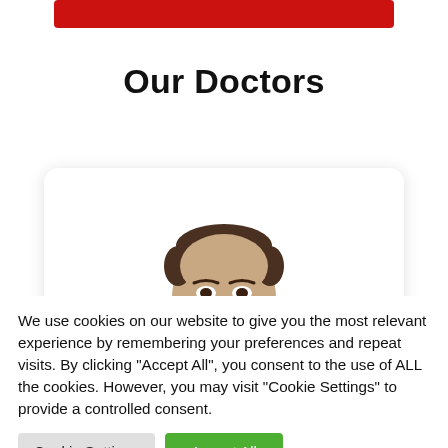[Figure (other): Red button/banner partially visible at top of page]
Our Doctors
[Figure (photo): Partial photo of a male doctor's face (forehead and eyes visible) inside a white card with rounded corners and drop shadow]
We use cookies on our website to give you the most relevant experience by remembering your preferences and repeat visits. By clicking "Accept All", you consent to the use of ALL the cookies. However, you may visit "Cookie Settings" to provide a controlled consent.
Cookie Settings
Accept All
English